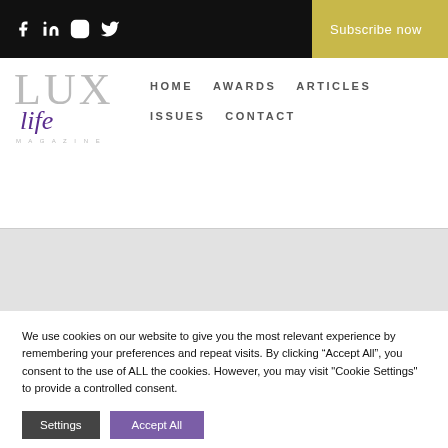LUX life Magazine — top navigation bar with social icons (Facebook, LinkedIn, Instagram, Twitter) and Subscribe now button
[Figure (logo): LUX life Magazine logo — LUX in large grey letters with 'life' in purple italic script below]
HOME   AWARDS   ARTICLES   ISSUES   CONTACT
We use cookies on our website to give you the most relevant experience by remembering your preferences and repeat visits. By clicking "Accept All", you consent to the use of ALL the cookies. However, you may visit "Cookie Settings" to provide a controlled consent.
Settings   Accept All